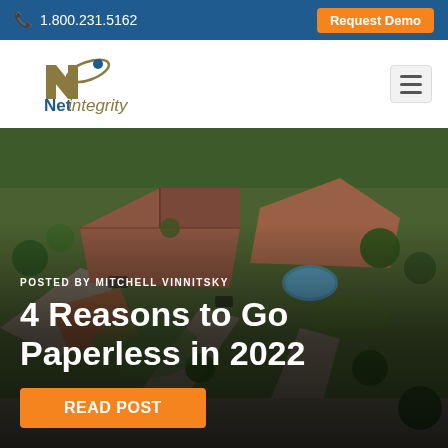1.800.231.5162  |  Request Demo
[Figure (logo): Net Integrity logo with stylized N and i letters and orbital arc, with text 'Net integrity' below]
[Figure (photo): Aerial photograph of a residential property with houses, pools, driveways, trees, and manicured lawns viewed from above]
POSTED BY MITCHELL VINNITSKY
4 Reasons to Go Paperless in 2022
READ POST